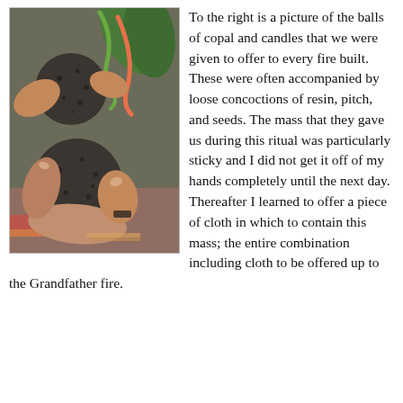[Figure (photo): Hands holding dark rough balls of copal resin with green plant stems/hooks visible, colorful fabric in background]
To the right is a picture of the balls of copal and candles that we were given to offer to every fire built. These were often accompanied by loose concoctions of resin, pitch, and seeds. The mass that they gave us during this ritual was particularly sticky and I did not get it off of my hands completely until the next day. Thereafter I learned to offer a piece of cloth in which to contain this mass; the entire combination including cloth to be offered up to the Grandfather fire.